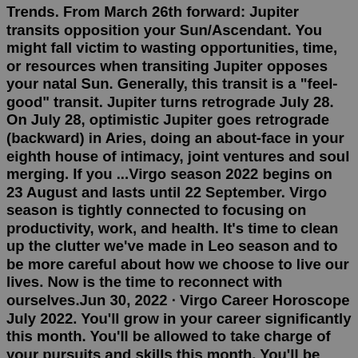Trends. From March 26th forward: Jupiter transits opposition your Sun/Ascendant. You might fall victim to wasting opportunities, time, or resources when transiting Jupiter opposes your natal Sun. Generally, this transit is a "feel-good" transit. Jupiter turns retrograde July 28. On July 28, optimistic Jupiter goes retrograde (backward) in Aries, doing an about-face in your eighth house of intimacy, joint ventures and soul merging. If you ...Virgo season 2022 begins on 23 August and lasts until 22 September. Virgo season is tightly connected to focusing on productivity, work, and health. It's time to clean up the clutter we've made in Leo season and to be more careful about how we choose to live our lives. Now is the time to reconnect with ourselves.Jun 30, 2022 · Virgo Career Horoscope July 2022. You'll grow in your career significantly this month. You'll be allowed to take charge of your pursuits and skills this month. You'll be recognised by the course ... According to the Virgo career horoscope 2022, the starting of the year will be a little slow for the working people. The efforts